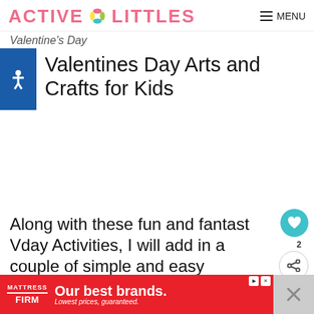ACTIVE LITTLES  ≡ MENU
Valentine's Day
Valentines Day Arts and Crafts for Kids
Along with these fun and fantastic Vday Activities, I will add in a couple of simple and easy you can try with your littles right he
[Figure (infographic): What's Next promotional box with thumbnail image and text: 70+ Alphabet Activities for...]
[Figure (infographic): Mattress Firm advertisement banner: Our best brands. Lowest prices, guaranteed.]